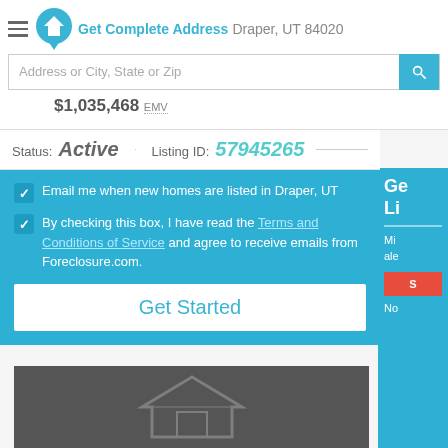Get Complete Address   Draper, UT 84020
$1,035,468 EMV
Status: Active   Listing ID: 57945265
Email me when new homes are listed in Draper, UT
By checking this box, I have read the Terms and Conditions of Service and agree to receive emails from Foreclosure.com.
Get Started
Nearby Foreclosures
Homes near E 13200 S in Draper, Utah
[Figure (photo): Dark property image placeholder with faint house outline icon]